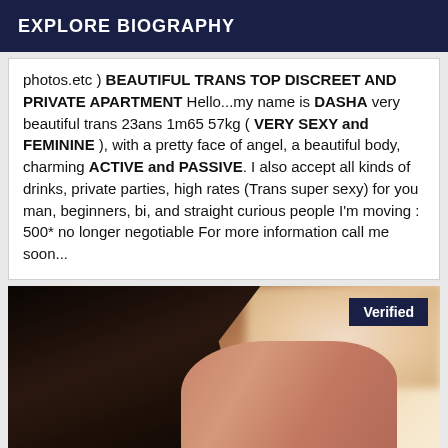EXPLORE BIOGRAPHY
photos.etc ) BEAUTIFUL TRANS TOP DISCREET AND PRIVATE APARTMENT Hello...my name is DASHA very beautiful trans 23ans 1m65 57kg ( VERY SEXY and FEMININE ), with a pretty face of angel, a beautiful body, charming ACTIVE and PASSIVE. I also accept all kinds of drinks, private parties, high rates (Trans super sexy) for you man, beginners, bi, and straight curious people I'm moving : 500* no longer negotiable For more information call me soon...
[Figure (photo): Close-up photo of a person with dark hair, showing neck and shoulder area. A 'Verified' badge appears in the top-right corner of the image.]